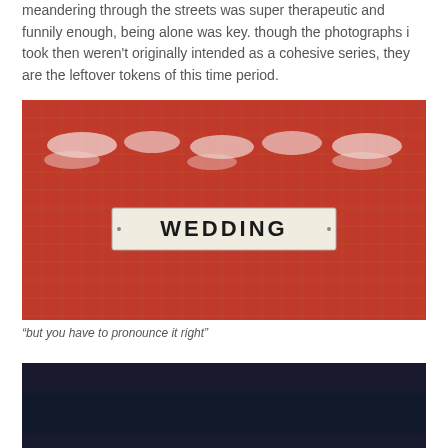meandering through the streets was super therapeutic and funnily enough, being alone was key. though the photographs i took then weren't originally intended as a cohesive series, they are the leftover tokens of this time period.
[Figure (photo): Red tiled wall with a white rectangular sign reading 'WEDDING' in bold black capital letters. Above the sign are blurry white letters/lights against the red tile grid background.]
“but you have to pronounce it right”
[Figure (photo): Dark bottom portion of another photograph, showing a dark blue/black scene, partially visible at the bottom of the page.]